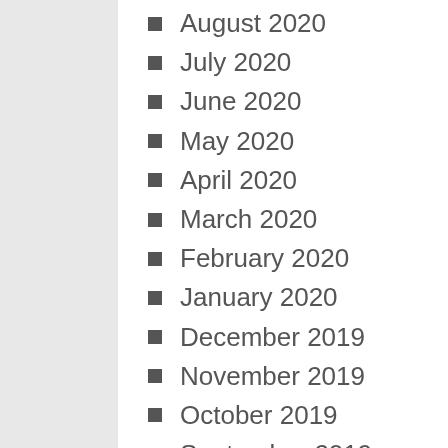August 2020
July 2020
June 2020
May 2020
April 2020
March 2020
February 2020
January 2020
December 2019
November 2019
October 2019
September 2019
August 2019
July 2019
June 2019
October 2018
September 2018